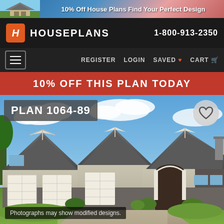[Figure (screenshot): Ad banner with house image and text: 10% Off House Plans Find Your Perfect Design]
HOUSEPLANS  1-800-913-2350
REGISTER  LOGIN  SAVED  CART
10% OFF THIS PLAN TODAY
[Figure (photo): Craftsman style house with three-car garage, stone and siding exterior, arched entry, blue sky]
PLAN 1064-89
Photographs may show modified designs.